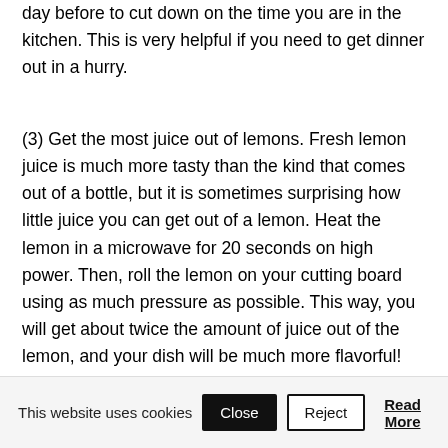day before to cut down on the time you are in the kitchen. This is very helpful if you need to get dinner out in a hurry.
(3) Get the most juice out of lemons. Fresh lemon juice is much more tasty than the kind that comes out of a bottle, but it is sometimes surprising how little juice you can get out of a lemon. Heat the lemon in a microwave for 20 seconds on high power. Then, roll the lemon on your cutting board using as much pressure as possible. This way, you will get about twice the amount of juice out of the lemon, and your dish will be much more flavorful!
This website uses cookies  Close  Reject  Read More